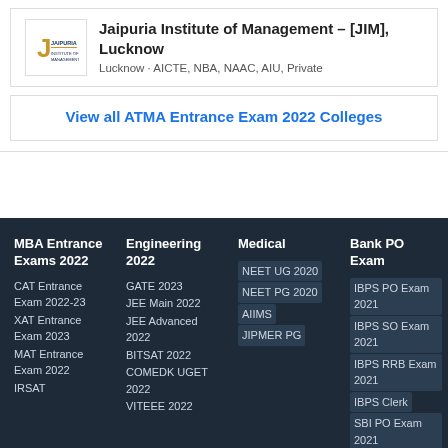[Figure (logo): Jaipuria Institute of Management logo]
Jaipuria Institute of Management – [JIM], Lucknow
Lucknow · AICTE, NBA, NAAC, AIU, Private
View all ATMA Entrance Exam 2022 Colleges
MBA Entrance Exams 2022
CAT Entrance Exam 2022-23
XAT Entrance Exam 2023
MAT Entrance Exam 2022
IRSAT
Engineering 2022
GATE 2023
JEE Main 2022
JEE Advanced 2022
BITSAT 2022
COMEDK UGET 2022
VITEEE 2022
Medical
NEET UG 2020
NEET PG 2020
AIIMS
JIPMER PG
Bank PO Exam
IBPS PO Exam 2021
IBPS SO Exam 2021
IBPS RRB Exam 2021
IBPS Clerk
SBI PO Exam 2021
SBI SO Exam